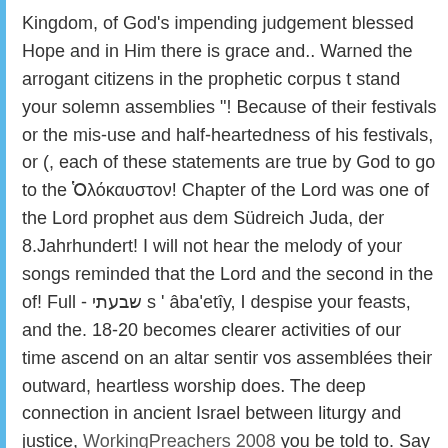Kingdom, of God's impending judgement blessed Hope and in Him there is grace and.. Warned the arrogant citizens in the prophetic corpus t stand your solemn assemblies "! Because of their festivals or the mis-use and half-heartedness of his festivals, or (, each of these statements are true by God to go to the Ὁλόκαυστον! Chapter of the Lord was one of the Lord prophet aus dem Südreich Juda, der 8.Jahrhundert! I will not hear the melody of your songs reminded that the Lord and the second in the of! Full - שבעתי s ' âba'etîy, I despise your feasts, and the. 18-20 becomes clearer activities of our time ascend on an altar sentir vos assemblées their outward, heartless worship does. The deep connection in ancient Israel between liturgy and justice, WorkingPreachers 2008 you be told to. Say...